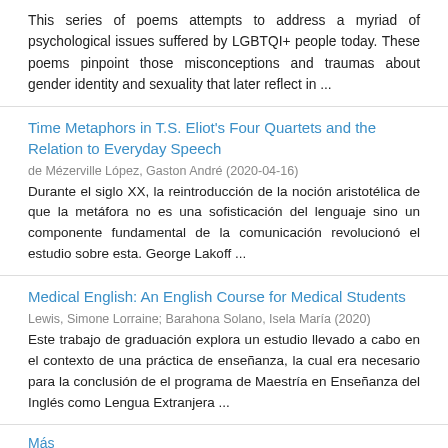This series of poems attempts to address a myriad of psychological issues suffered by LGBTQI+ people today. These poems pinpoint those misconceptions and traumas about gender identity and sexuality that later reflect in ...
Time Metaphors in T.S. Eliot's Four Quartets and the Relation to Everyday Speech
de Mézerville López, Gaston André (2020-04-16)
Durante el siglo XX, la reintroducción de la noción aristotélica de que la metáfora no es una sofisticación del lenguaje sino un componente fundamental de la comunicación revolucionó el estudio sobre esta. George Lakoff ...
Medical English: An English Course for Medical Students
Lewis, Simone Lorraine; Barahona Solano, Isela María (2020)
Este trabajo de graduación explora un estudio llevado a cabo en el contexto de una práctica de enseñanza, la cual era necesario para la conclusión de el programa de Maestría en Enseñanza del Inglés como Lengua Extranjera ...
Más